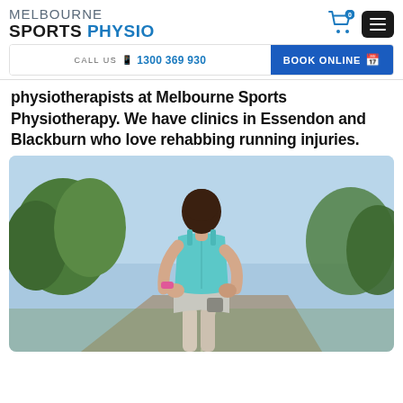MELBOURNE SPORTS PHYSIO
CALL US  1300 369 930
BOOK ONLINE
physiotherapists at Melbourne Sports Physiotherapy. We have clinics in Essendon and Blackburn who love rehabbing running injuries.
[Figure (photo): Woman runner seen from behind, wearing a teal/blue tank top and grey shorts, hands on her lower back suggesting back pain, standing on a road with trees in the background.]